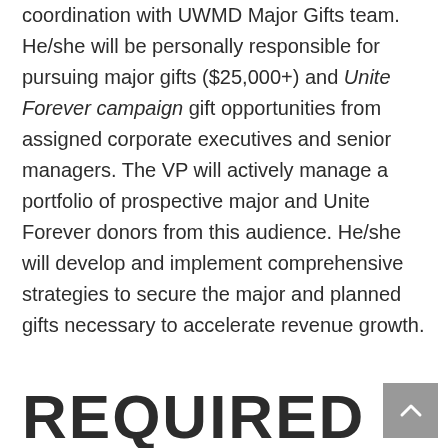coordination with UWMD Major Gifts team. He/she will be personally responsible for pursuing major gifts ($25,000+) and Unite Forever campaign gift opportunities from assigned corporate executives and senior managers. The VP will actively manage a portfolio of prospective major and Unite Forever donors from this audience. He/she will develop and implement comprehensive strategies to secure the major and planned gifts necessary to accelerate revenue growth.
REQUIRED